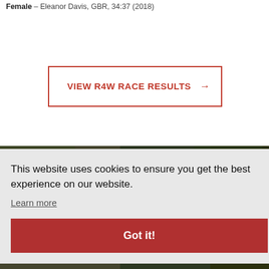Female – Eleanor Davis, GBR, 34:37 (2018)
VIEW R4W RACE RESULTS →
[Figure (photo): Outdoor photo background with trees and a sign partially visible reading 'KE EVIL' in yellow text]
This website uses cookies to ensure you get the best experience on our website.
Learn more
Got it!